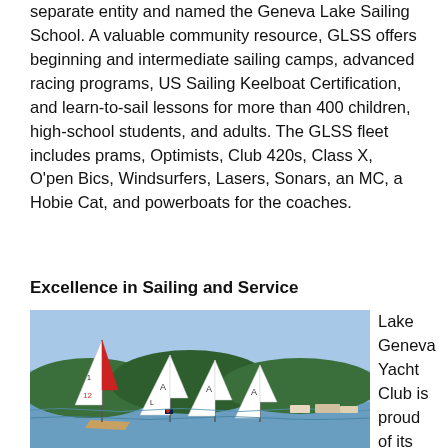separate entity and named the Geneva Lake Sailing School. A valuable community resource, GLSS offers beginning and intermediate sailing camps, advanced racing programs, US Sailing Keelboat Certification, and learn-to-sail lessons for more than 400 children, high-school students, and adults. The GLSS fleet includes prams, Optimists, Club 420s, Class X, O'pen Bics, Windsurfers, Lasers, Sonars, an MC, a Hobie Cat, and powerboats for the coaches.
Excellence in Sailing and Service
[Figure (photo): Sailing race on Geneva Lake with multiple sailboats with white sails, a red-trimmed sail, and flags visible; wooded hills in background.]
Lake Geneva Yacht Club is proud of its sailors